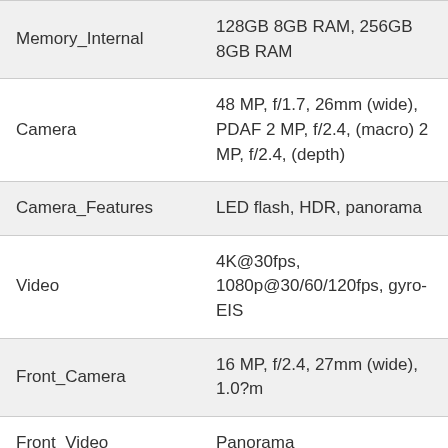| Feature | Value |
| --- | --- |
| Memory_Internal | 128GB 8GB RAM, 256GB 8GB RAM |
| Camera | 48 MP, f/1.7, 26mm (wide), PDAF 2 MP, f/2.4, (macro) 2 MP, f/2.4, (depth) |
| Camera_Features | LED flash, HDR, panorama |
| Video | 4K@30fps, 1080p@30/60/120fps, gyro-EIS |
| Front_Camera | 16 MP, f/2.4, 27mm (wide), 1.0?m |
| Front_Video | Panorama |
| Loudspeaker | Yes |